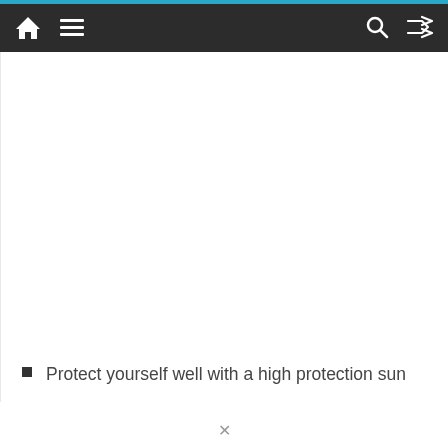Navigation bar with home, menu, search, and shuffle icons
p
Protect yourself well with a high protection sun